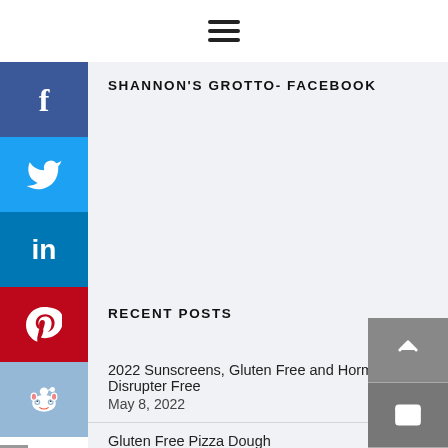☰ (hamburger menu)
SHANNON'S GROTTO- FACEBOOK
RECENT POSTS
2022 Sunscreens, Gluten Free and Hormone Disrupter Free — May 8, 2022
Gluten Free Pizza Dough — February 22, 2022
Help! My Child is in a BAD Relationship! — February 15, 2022